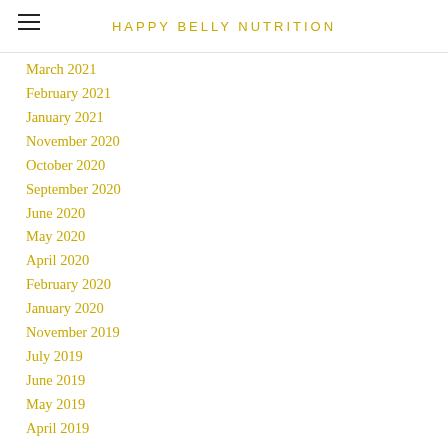HAPPY BELLY NUTRITION
March 2021
February 2021
January 2021
November 2020
October 2020
September 2020
June 2020
May 2020
April 2020
February 2020
January 2020
November 2019
July 2019
June 2019
May 2019
April 2019
Categories